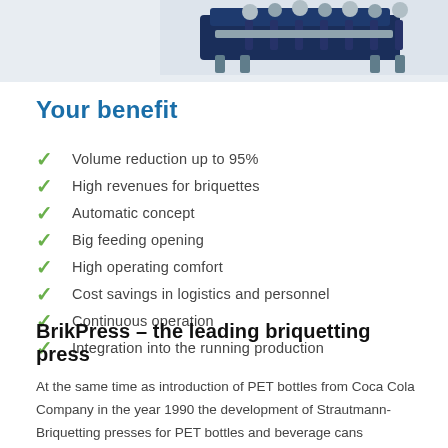[Figure (photo): Industrial briquetting press machinery, blue metal equipment viewed from above/side angle, on white background]
Your benefit
Volume reduction up to 95%
High revenues for briquettes
Automatic concept
Big feeding opening
High operating comfort
Cost savings in logistics and personnel
Continuous operation
Integration into the running production
BrikPress – the leading briquetting press
At the same time as introduction of PET bottles from Coca Cola Company in the year 1990 the development of Strautmann-Briquetting presses for PET bottles and beverage cans